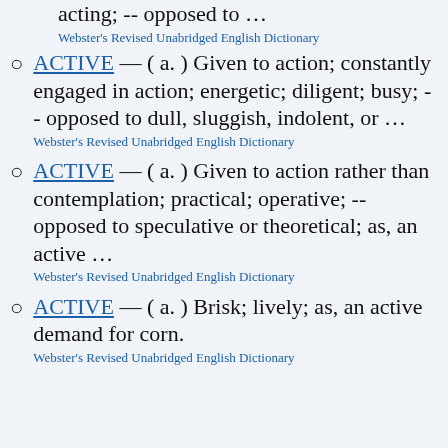…stimulating action or motion; acting; -- opposed to …
Webster's Revised Unabridged English Dictionary
ACTIVE — ( a. ) Given to action; constantly engaged in action; energetic; diligent; busy; -- opposed to dull, sluggish, indolent, or …
Webster's Revised Unabridged English Dictionary
ACTIVE — ( a. ) Given to action rather than contemplation; practical; operative; -- opposed to speculative or theoretical; as, an active …
Webster's Revised Unabridged English Dictionary
ACTIVE — ( a. ) Brisk; lively; as, an active demand for corn.
Webster's Revised Unabridged English Dictionary